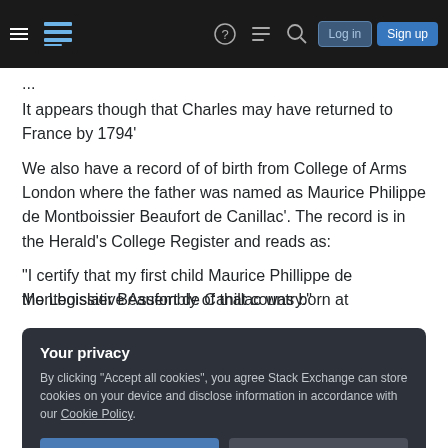Stack Exchange navigation bar with hamburger menu, logo, question mark, comments, search, Log in, Sign up
It appears though that Charles may have returned to France by 1794'
We also have a record of of birth from College of Arms London where the father was named as Maurice Philippe de Montboissier Beaufort de Canillac'. The record is in the Herald's College Register and reads as:
"I certify that my first child Maurice Phillippe de Montboissier Beaufort de Canillac was born at
Your privacy
By clicking "Accept all cookies", you agree Stack Exchange can store cookies on your device and disclose information in accordance with our Cookie Policy.
Accept all cookies
Customize settings
the Legislative Assembly of that country."